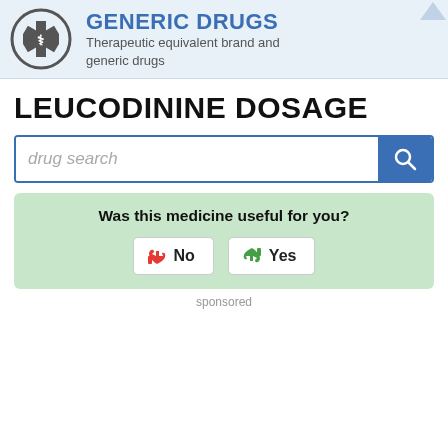[Figure (logo): Generic Drugs header with medical star-of-life logo, title GENERIC DRUGS and subtitle Therapeutic equivalent brand and generic drugs]
LEUCODININE DOSAGE
[Figure (screenshot): Drug search input box with placeholder text 'drug search' and blue search button with magnifying glass icon]
[Figure (infographic): Green feedback box asking 'Was this medicine useful for you?' with No (thumbs down) and Yes (thumbs up) buttons]
sponsored